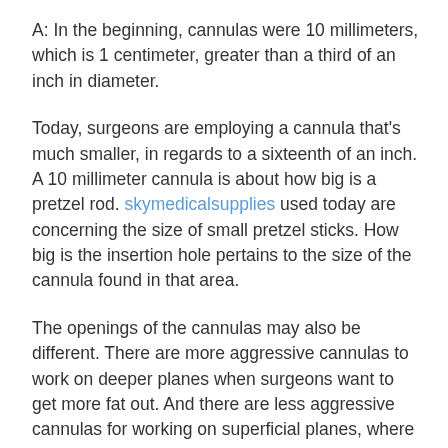A: In the beginning, cannulas were 10 millimeters, which is 1 centimeter, greater than a third of an inch in diameter.
Today, surgeons are employing a cannula that's much smaller, in regards to a sixteenth of an inch. A 10 millimeter cannula is about how big is a pretzel rod. skymedicalsupplies used today are concerning the size of small pretzel sticks. How big is the insertion hole pertains to the size of the cannula found in that area.
The openings of the cannulas may also be different. There are more aggressive cannulas to work on deeper planes when surgeons want to get more fat out. And there are less aggressive cannulas for working on superficial planes, where they don't want to create indentations. The size used also depends